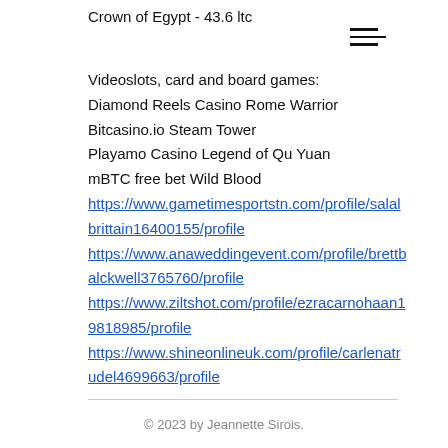Crown of Egypt - 43.6 ltc
[Figure (other): Hamburger menu icon with three horizontal lines]
Videoslots, card and board games:
Diamond Reels Casino Rome Warrior
Bitcasino.io Steam Tower
Playamo Casino Legend of Qu Yuan
mBTC free bet Wild Blood
https://www.gametimesportstn.com/profile/salalbrittain16400155/profile
https://www.anaweddingevent.com/profile/brettbalckwell3765760/profile
https://www.ziltshot.com/profile/ezracarnohaan19818985/profile
https://www.shineonlineuk.com/profile/carlenatrudel4699663/profile
© 2023 by Jeannette Sirois.